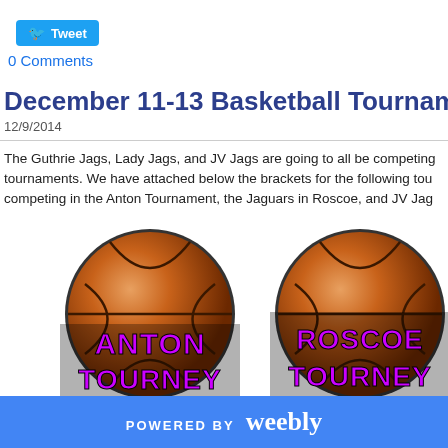[Figure (other): Twitter Tweet button (blue rounded rectangle with bird icon and 'Tweet' text)]
0 Comments
December 11-13 Basketball Tournaments Brackets
12/9/2014
The Guthrie Jags, Lady Jags, and JV Jags are going to all be competing in tournaments. We have attached below the brackets for the following tournaments: competing in the Anton Tournament, the Jaguars in Roscoe, and JV Jag...
[Figure (illustration): Basketball graphic with purple text 'ANTON TOURNEY' overlaid on it]
[Figure (illustration): Basketball graphic with purple text 'ROSCOE TOURNEY' overlaid on it]
POWERED BY weebly